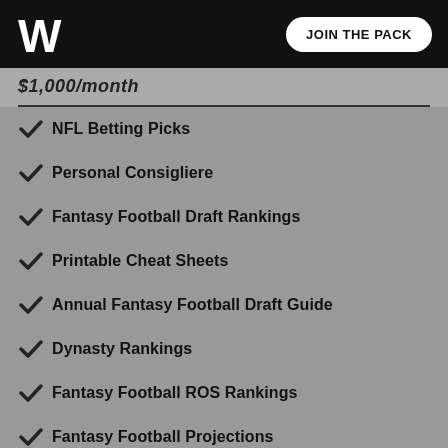W | JOIN THE PACK
$1,000/month
NFL Betting Picks
Personal Consigliere
Fantasy Football Draft Rankings
Printable Cheat Sheets
Annual Fantasy Football Draft Guide
Dynasty Rankings
Fantasy Football ROS Rankings
Fantasy Football Projections
Fantasy Football Analytics
Unlocked Articles
Weekly Rankings